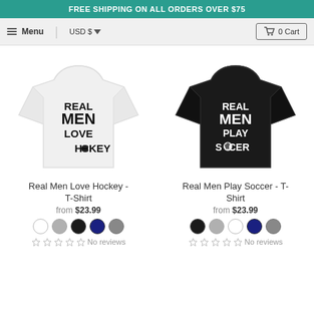FREE SHIPPING ON ALL ORDERS OVER $75
Menu  USD $  0 Cart
[Figure (photo): White t-shirt with text: REAL MEN LOVE HOCKEY]
Real Men Love Hockey - T-Shirt
from $23.99
No reviews
[Figure (photo): Black t-shirt with text: REAL MEN PLAY SOCCER]
Real Men Play Soccer - T-Shirt
from $23.99
No reviews